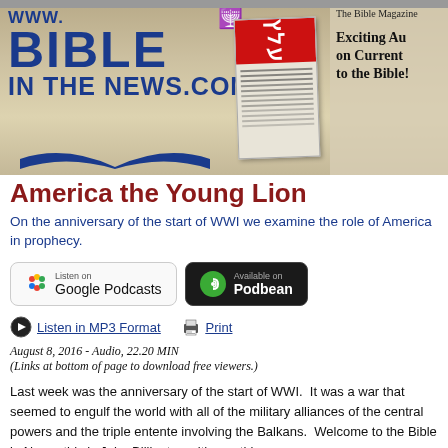[Figure (illustration): BibleInTheNews.com website header banner with logo text WWW. BIBLE IN THE NEWS.COM in large blue letters, a menorah icon, a Hebrew newspaper image, and right side text: The Bible Magazine, Exciting Audio on Current Events related to the Bible!]
America the Young Lion
On the anniversary of the start of WWI we examine the role of America in prophecy.
[Figure (screenshot): Listen on Google Podcasts button]
[Figure (screenshot): Available on Podbean button]
Listen in MP3 Format
Print
August 8, 2016 - Audio, 22.20 MIN
(Links at bottom of page to download free viewers.)
Last week was the anniversary of the start of WWI.  It was a war that seemed to engulf the world with all of the military alliances of the central powers and the triple entente involving the Balkans.  Welcome to the Bible in News, this is John Billington with you this